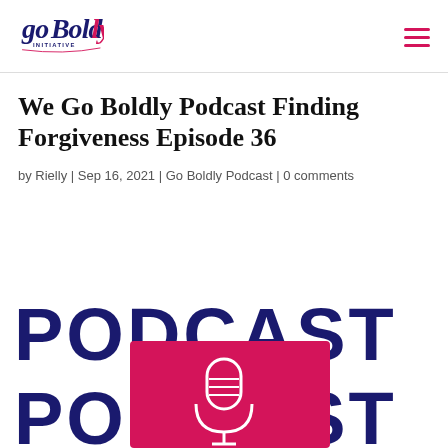goBoldly Initiative
We Go Boldly Podcast Finding Forgiveness Episode 36
by Rielly | Sep 16, 2021 | Go Boldly Podcast | 0 comments
[Figure (illustration): Podcast promotional image with dark navy text reading PODCAST repeated twice with a magenta/pink rectangle center overlay containing a white microphone icon]